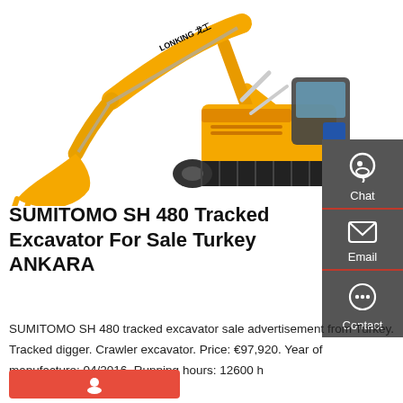[Figure (photo): Yellow Lonking tracked excavator (crawler excavator) on white background, large boom arm extended with bucket, rubber tracks visible, cab on right side]
SUMITOMO SH 480 Tracked Excavator For Sale Turkey ANKARA
SUMITOMO SH 480 tracked excavator sale advertisement from Turkey. Tracked digger. Crawler excavator. Price: €97,920. Year of manufacture: 04/2016. Running hours: 12600 h